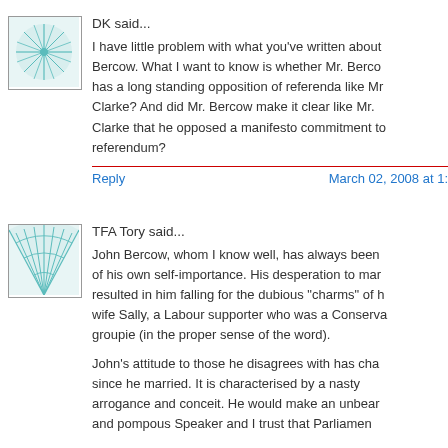DK said...
I have little problem with what you've written about Bercow. What I want to know is whether Mr. Bercow has a long standing opposition of referenda like Mr. Clarke? And did Mr. Bercow make it clear like Mr. Clarke that he opposed a manifesto commitment to a referendum?
Reply   March 02, 2008 at 1...
TFA Tory said...
John Bercow, whom I know well, has always been of his own self-importance. His desperation to mar... resulted in him falling for the dubious "charms" of h... wife Sally, a Labour supporter who was a Conserva... groupie (in the proper sense of the word).
John's attitude to those he disagrees with has cha... since he married. It is characterised by a nasty arrogance and conceit. He would make an unbear... and pompous Speaker and I trust that Parliament...